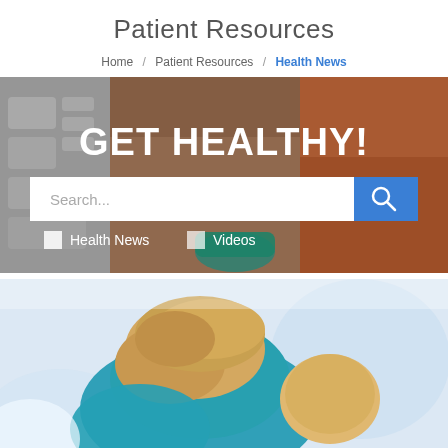Patient Resources
Home / Patient Resources / Health News
[Figure (photo): Hero banner with keyboard and office supplies in background, white text reading GET HEALTHY!, a search bar, and filter checkboxes for Health News and Videos]
[Figure (photo): Healthcare professional in blue scrubs leaning over a young child patient]